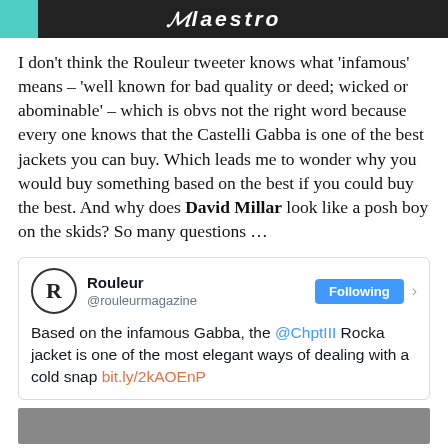[Figure (illustration): Top banner image with teal section on left and dark background with 'Maestro' logo text in center-right]
I don't think the Rouleur tweeter knows what 'infamous' means – 'well known for bad quality or deed; wicked or abominable' – which is obvs not the right word because every one knows that the Castelli Gabba is one of the best jackets you can buy. Which leads me to wonder why you would buy something based on the best if you could buy the best. And why does David Millar look like a posh boy on the skids? So many questions …
[Figure (screenshot): Tweet from @rouleurmagazine (Rouleur) with Following button: 'Based on the infamous Gabba, the @ChptIII Rocka jacket is one of the most elegant ways of dealing with a cold snap bit.ly/2kAOEnP']
[Figure (photo): Bottom strip of a photo, partially visible]